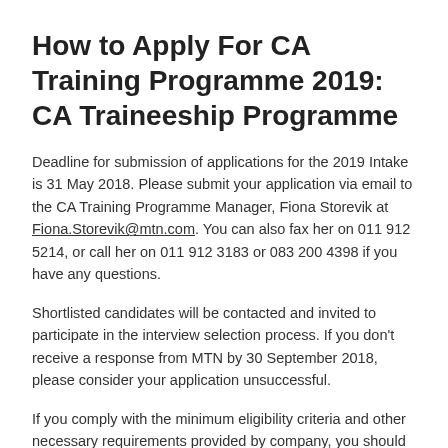How to Apply For CA Training Programme 2019: CA Traineeship Programme
Deadline for submission of applications for the 2019 Intake is 31 May 2018. Please submit your application via email to the CA Training Programme Manager, Fiona Storevik at Fiona.Storevik@mtn.com. You can also fax her on 011 912 5214, or call her on 011 912 3183 or 083 200 4398 if you have any questions.
Shortlisted candidates will be contacted and invited to participate in the interview selection process. If you don't receive a response from MTN by 30 September 2018, please consider your application unsuccessful.
If you comply with the minimum eligibility criteria and other necessary requirements provided by company, you should apply online for the Latest CA Training Jobs 2019-2020.